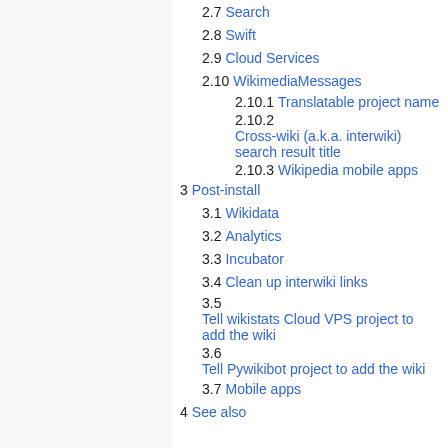2.7 Search
2.8 Swift
2.9 Cloud Services
2.10 WikimediaMessages
2.10.1 Translatable project name
2.10.2 Cross-wiki (a.k.a. interwiki) search result title
2.10.3 Wikipedia mobile apps
3 Post-install
3.1 Wikidata
3.2 Analytics
3.3 Incubator
3.4 Clean up interwiki links
3.5 Tell wikistats Cloud VPS project to add the wiki
3.6 Tell Pywikibot project to add the wiki
3.7 Mobile apps
4 See also